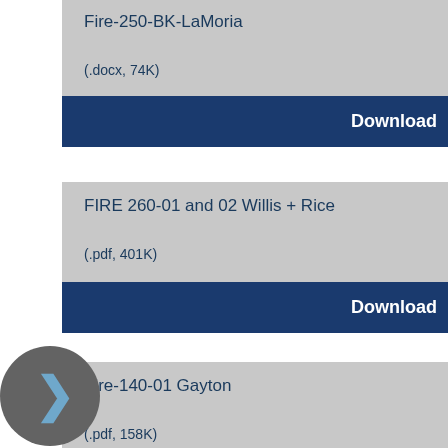Fire-250-BK-LaMoria
(.docx, 74K)
Download
FIRE 260-01 and 02 Willis + Rice
(.pdf, 401K)
Download
Fire-140-01 Gayton
(.pdf, 158K)
Download
Fire-140-01 Gayton P.2